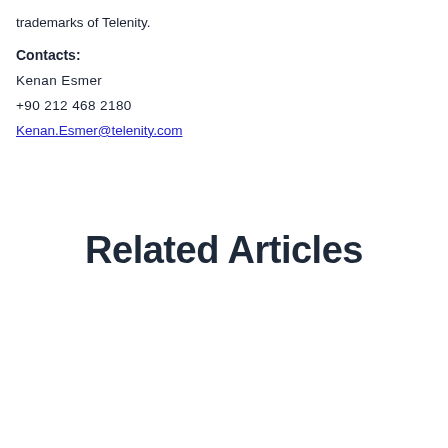trademarks of Telenity.
Contacts:
Kenan Esmer
+90 212 468 2180
Kenan.Esmer@telenity.com
Related Articles